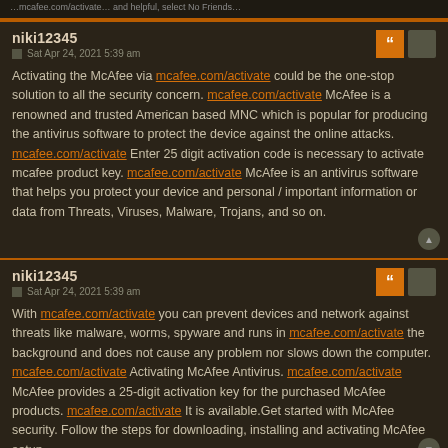...mcafee.com/activate...
niki12345
Sat Apr 24, 2021 5:39 am

Activating the McAfee via mcafee.com/activate could be the one-stop solution to all the security concern. mcafee.com/activate McAfee is a renowned and trusted American based MNC which is popular for producing the antivirus software to protect the device against the online attacks. mcafee.com/activate Enter 25 digit activation code is necessary to activate mcafee product key. mcafee.com/activate McAfee is an antivirus software that helps you protect your device and personal / important information or data from Threats, Viruses, Malware, Trojans, and so on.
niki12345
Sat Apr 24, 2021 5:39 am

With mcafee.com/activate you can prevent devices and network against threats like malware, worms, spyware and runs in mcafee.com/activate the background and does not cause any problem nor slows down the computer. mcafee.com/activate Activating McAfee Antivirus. mcafee.com/activate McAfee provides a 25-digit activation key for the purchased McAfee products. mcafee.com/activate It is available.Get started with McAfee security. Follow the steps for downloading, installing and activating McAfee setup.